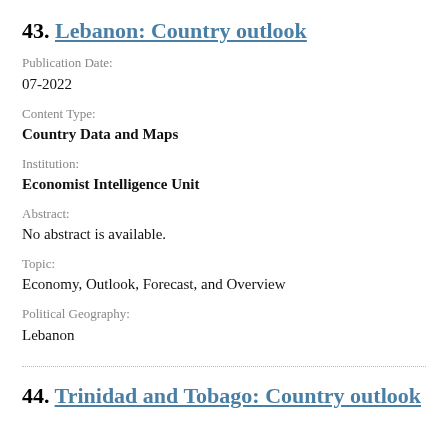43. Lebanon: Country outlook
Publication Date:
07-2022
Content Type:
Country Data and Maps
Institution:
Economist Intelligence Unit
Abstract:
No abstract is available.
Topic:
Economy, Outlook, Forecast, and Overview
Political Geography:
Lebanon
44. Trinidad and Tobago: Country outlook